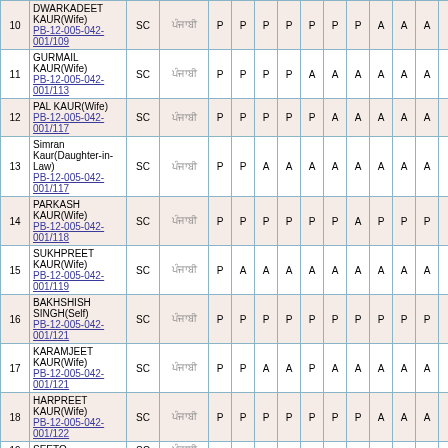| # | Name | Cat | Lang | 1 | 2 | 3 | 4 | 5 | 6 | 7 | 8 | 9 | 10 | Count | Rate | Total |
| --- | --- | --- | --- | --- | --- | --- | --- | --- | --- | --- | --- | --- | --- | --- | --- | --- |
| 10 | DWARKADEET KAUR(Wife) PB-12-005-042-001/109 | SC | ਪੰਜਾਬੀ | P | P | P | P | P | P | P | A | A | A | 7 | 240 | 1680 |
| 11 | GURMAIL KAUR(Wife) PB-12-005-042-001/113 | SC | ਪੰਜਾਬੀ | P | P | P | P | A | A | A | A | A | A | 4 | 240 | 960 |
| 12 | PAL KAUR(Wife) PB-12-005-042-001/117 | SC | ਪੰਜਾਬੀ | P | P | P | P | P | A | A | A | A | A | 5 | 240 | 1200 |
| 13 | Simran Kaur(Daughter-in-Law) PB-12-005-042-001/117 | SC | ਪੰਜਾਬੀ | P | P | A | A | A | A | A | A | A | A | 2 | 240 | 480 |
| 14 | PARKASH KAUR(Wife) PB-12-005-042-001/118 | SC | ਪੰਜਾਬੀ | P | P | P | P | P | P | A | P | P | P | 9 | 240 | 2160 |
| 15 | SUKHPREET KAUR(Wife) PB-12-005-042-001/119 | SC | ਪੰਜਾਬੀ | P | A | A | A | A | A | A | A | A | A | 1 | 240 | 240 |
| 16 | BAKHSHISH SINGH(Self) PB-12-005-042-001/121 | SC | ਪੰਜਾਬੀ | P | P | P | P | P | P | P | P | P | P | 10 | 240 | 2400 |
| 17 | KARAMJEET KAUR(Wife) PB-12-005-042-001/121 | SC | ਪੰਜਾਬੀ | P | P | A | A | P | A | A | A | A | A | 3 | 240 | 720 |
| 18 | HARPREET KAUR(Wife) PB-12-005-042-001/122 | SC | ਪੰਜਾਬੀ | P | P | P | P | P | P | P | A | A | A | 7 | 240 | 1680 |
| 19 | SEETO... | SC | ਪੰਜਾਬੀ |  |  |  |  |  |  |  |  |  |  |  |  |  |